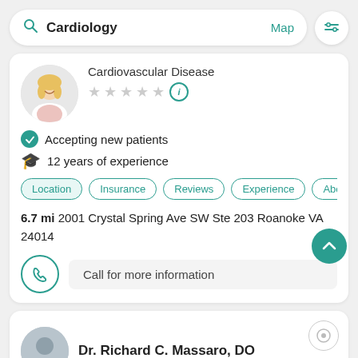[Figure (screenshot): Mobile app search bar showing 'Cardiology' search with Map link and filter icon]
Cardiovascular Disease
★★★★★ (no ratings, info icon)
Accepting new patients
12 years of experience
Location | Insurance | Reviews | Experience | Abo
6.7 mi 2001 Crystal Spring Ave SW Ste 203 Roanoke VA 24014
Call for more information
Dr. Richard C. Massaro, DO